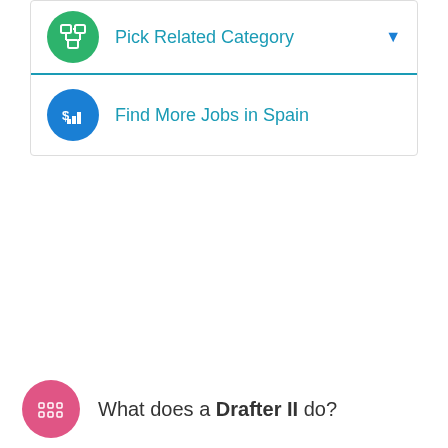Pick Related Category
Find More Jobs in Spain
What does a Drafter II do?